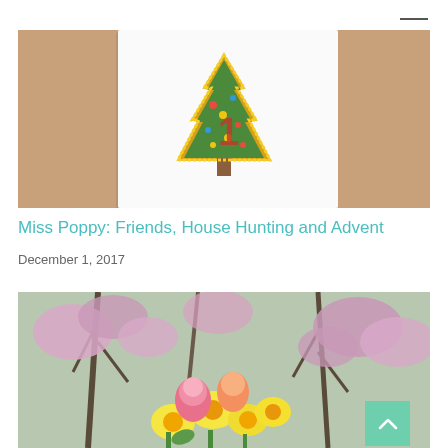[Figure (photo): A decorative Christmas card on a wooden surface, showing a glittery gold-bordered Christmas tree ornament in green with red number 1 and colorful dot decorations.]
Miss Poppy: Friends, House Hunting and Advent
December 1, 2017
[Figure (photo): A bouquet of yellow daffodils, pink tulips and roses in the foreground with pink cherry blossom trees and bare branches in the background against a grey sky.]